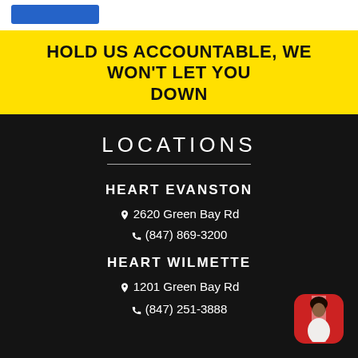[Figure (other): Blue button in top white strip area]
HOLD US ACCOUNTABLE, WE WON'T LET YOU DOWN
LOCATIONS
HEART EVANSTON
📍 2620 Green Bay Rd
📞 (847) 869-3200
HEART WILMETTE
📍 1201 Green Bay Rd
📞 (847) 251-3888
[Figure (photo): Profile photo badge of a person in bottom right corner with red/orange background]